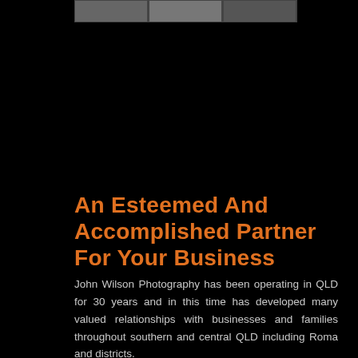[Figure (photo): Partial photo strip at the top of the page showing building/architectural images on a black background]
An Esteemed And Accomplished Partner For Your Business
John Wilson Photography has been operating in QLD for 30 years and in this time has developed many valued relationships with businesses and families throughout southern and central QLD including Roma and districts.